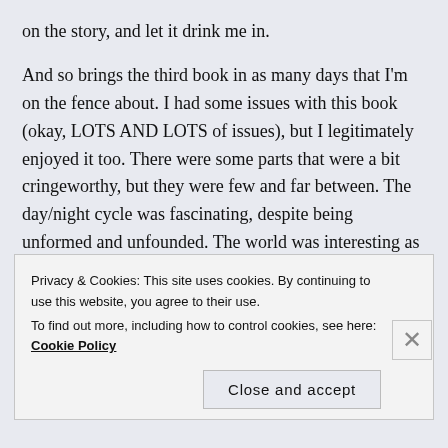on the story, and let it drink me in.
And so brings the third book in as many days that I'm on the fence about. I had some issues with this book (okay, LOTS AND LOTS of issues), but I legitimately enjoyed it too. There were some parts that were a bit cringeworthy, but they were few and far between. The day/night cycle was fascinating, despite being unformed and unfounded. The world was interesting as well, despite being a bad copy of Earth. The end was good, despite the ending being a bit confusing and hectic. I love the cover, but I'm not sure it's worth the
Privacy & Cookies: This site uses cookies. By continuing to use this website, you agree to their use.
To find out more, including how to control cookies, see here: Cookie Policy